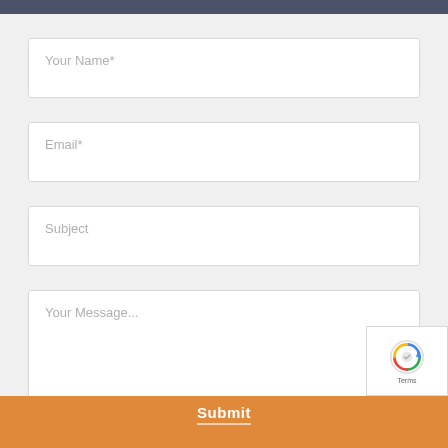[Figure (screenshot): Contact form web interface with fields for Your Name*, Email*, Subject, Your Message..., a reCAPTCHA widget, and an orange Submit button at the bottom]
Your Name*
Email*
Subject
Your Message...
Terms
Submit